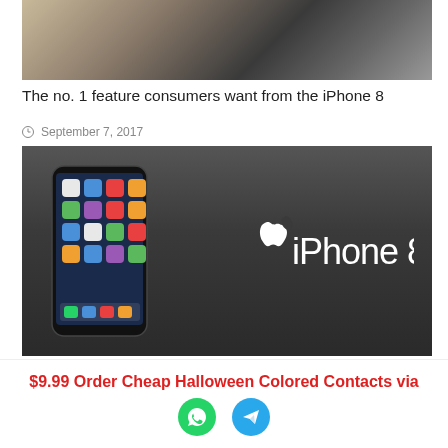[Figure (photo): Hands holding a smartphone with a charging cable, cropped top portion]
The no. 1 feature consumers want from the iPhone 8
September 7, 2017
[Figure (photo): Promotional image of iPhone 8 with Apple logo and 'iPhone 8' text on dark background]
iPhone 8 could scan your face even if your phone is on a
$9.99 Order Cheap Halloween Colored Contacts via